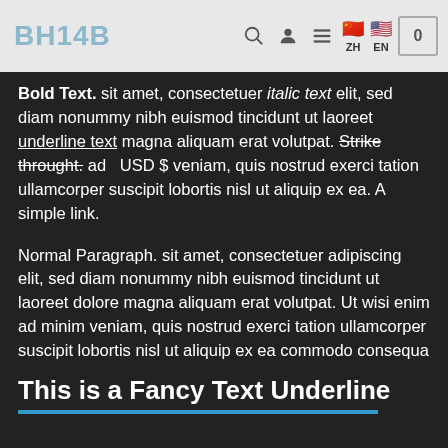BH14B — navigation header with ZH and EN language flags and cart
Bold Text. sit amet, consectetuer italic text elit, sed diam nonummy nibh euismod tincidunt ut laoreet underline text magna aliquam erat volutpat. Strike throught. ad USD $ veniam, quis nostrud exerci tation ullamcorper suscipit lobortis nisl ut aliquip ex ea. A simple link.
Normal Paragraph. sit amet, consectetuer adipiscing elit, sed diam nonummy nibh euismod tincidunt ut laoreet dolore magna aliquam erat volutpat. Ut wisi enim ad minim veniam, quis nostrud exerci tation ullamcorper suscipit lobortis nisl ut aliquip ex ea commodo consequa
This is a Fancy Text Underline